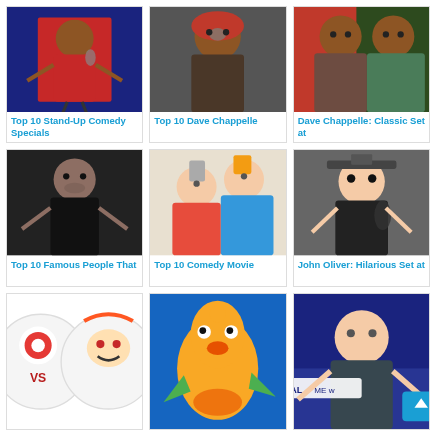[Figure (photo): Person in red jacket performing stand-up comedy on stage pointing at audience]
Top 10 Stand-Up Comedy Specials
[Figure (photo): Dave Chappelle wearing red beanie hat making expressive face]
Top 10 Dave Chappelle
[Figure (photo): Dave Chappelle in green jacket with wide expression, classic set photo]
Dave Chappelle: Classic Set at
[Figure (photo): Barack Obama covering mouth with hand at podium]
Top 10 Famous People That
[Figure (photo): Back to the Future cast photo with two characters posing together]
Top 10 Comedy Movie
[Figure (photo): John Oliver in dark suit holding microphone with glasses]
John Oliver: Hilarious Set at
[Figure (illustration): Clown VS graphic with horror clown face]
[Figure (illustration): Plankton from SpongeBob SquarePants animated character on blue background]
[Figure (photo): Bill Maher on Real Time with Bill Maher TV show set]